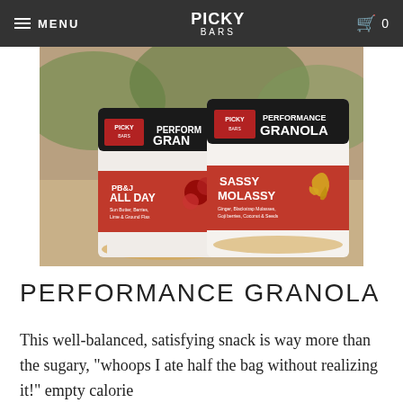MENU | PICKY BARS | 0
[Figure (photo): Two bags of Picky Bars Performance Granola on a wooden surface. Left bag: PB&J All Day flavor with red label. Right bag: Sassy Molassy flavor with red label and ginger root illustration. Both bags are white with black tops and show the Picky Bars logo.]
PERFORMANCE GRANOLA
This well-balanced, satisfying snack is way more than the sugary, "whoops I ate half the bag without realizing it!" empty calorie